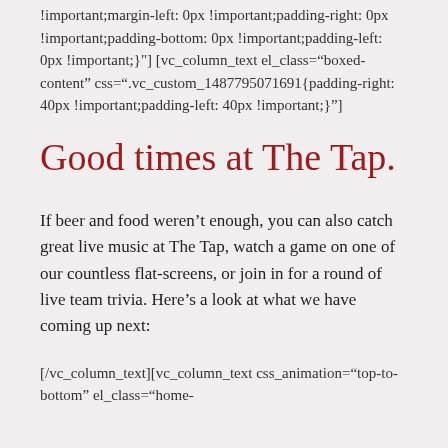!important;margin-left: 0px !important;padding-right: 0px !important;padding-bottom: 0px !important;padding-left: 0px !important;}"] [vc_column_text el_class="boxed-content" css=".vc_custom_1487795071691{padding-right: 40px !important;padding-left: 40px !important;}"]
Good times at The Tap.
If beer and food weren't enough, you can also catch great live music at The Tap, watch a game on one of our countless flat-screens, or join in for a round of live team trivia. Here's a look at what we have coming up next:
[/vc_column_text][vc_column_text css_animation="top-to-bottom" el_class="home-